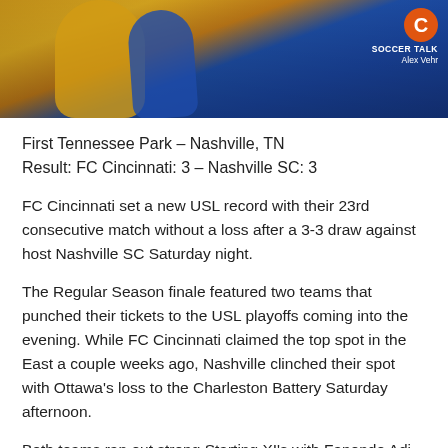[Figure (photo): Soccer match action photo showing two players competing for the ball — one in yellow/gold kit and one in blue kit. A Soccer Talk / Alex Vehr logo badge appears in the top right corner.]
First Tennessee Park – Nashville, TN
Result: FC Cincinnati: 3 – Nashville SC: 3
FC Cincinnati set a new USL record with their 23rd consecutive match without a loss after a 3-3 draw against host Nashville SC Saturday night.
The Regular Season finale featured two teams that punched their tickets to the USL playoffs coming into the evening. While FC Cincinnati claimed the top spot in the East a couple weeks ago, Nashville clinched their spot with Ottawa's loss to the Charleston Battery Saturday afternoon.
Both teams ran out strong Starting XI's with Fanendo Adi leading FC Cincinnati up top. It was also a notable night as